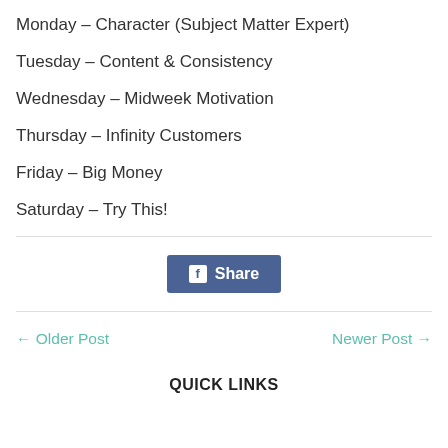Monday – Character (Subject Matter Expert)
Tuesday – Content & Consistency
Wednesday – Midweek Motivation
Thursday – Infinity Customers
Friday – Big Money
Saturday – Try This!
[Figure (other): Facebook Share button with white 'f' icon and 'Share' text on blue-grey background]
← Older Post
Newer Post →
QUICK LINKS